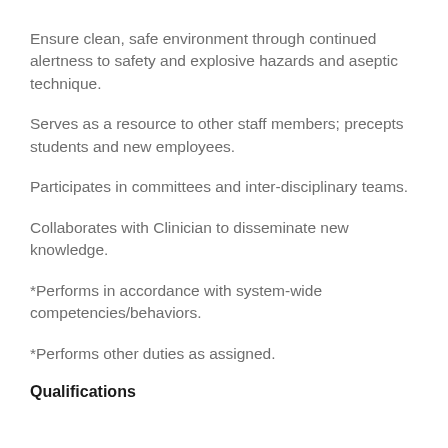Ensure clean, safe environment through continued alertness to safety and explosive hazards and aseptic technique.
Serves as a resource to other staff members; precepts students and new employees.
Participates in committees and inter-disciplinary teams.
Collaborates with Clinician to disseminate new knowledge.
*Performs in accordance with system-wide competencies/behaviors.
*Performs other duties as assigned.
Qualifications